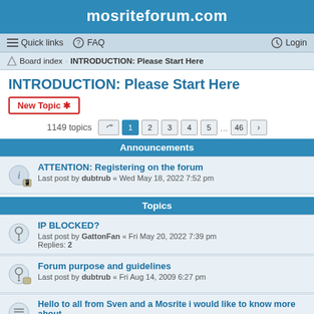mosriteforum.com
Quick links  FAQ  Login
Board index · INTRODUCTION: Please Start Here
INTRODUCTION: Please Start Here
New Topic
1149 topics  1 2 3 4 5 ... 46 >
Announcements
ATTENTION: Registering on the forum
Last post by dubtrub « Wed May 18, 2022 7:52 pm
Topics
IP BLOCKED?
Last post by GattonFan « Fri May 20, 2022 7:39 pm
Replies: 2
Forum purpose and guidelines
Last post by dubtrub « Fri Aug 14, 2009 6:27 pm
Hello to all from Sven and a Mosrite i would like to know more about
Last post by Sarah93003 « Thu Jun 23, 2022 2:34 pm